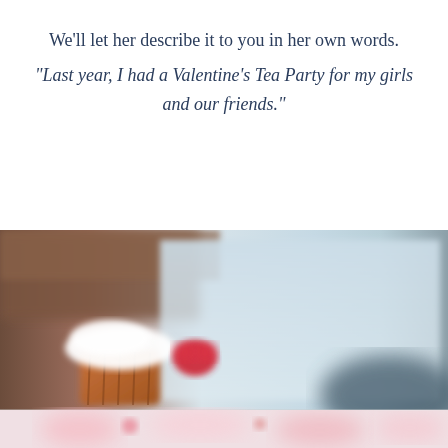We'll let her describe it to you in her own words.
“Last year, I had a Valentine’s Tea Party for my girls and our friends.”
[Figure (photo): A blurred close-up photograph showing a cupcake with white frosting and a red heart candy on top, with a window and wooden elements in the blurred background. A second partial image at the very bottom shows pink sugary treats.]